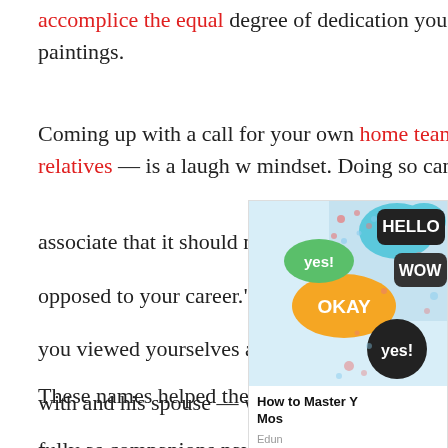accomplice the equal degree of dedication you supply to your team at paintings.
Coming up with a call for your own home team — or your circle of relatives — is a laugh w mindset. Doing so can assist remind associate that it should never be "m opposed to your career." Rather, it w you viewed yourselves as allies. On with and his spouse — who also had career — chose the call "Team Quin family surname. Another couple pic GBG, which stood for "Go Bernstein'
[Figure (illustration): Colorful speech bubbles illustration with words: HELLO, WOW, OKAY, yes!, YES]
How to Master Y... Mos... Edun...
These names helped them see eac fully as companions navigating eve